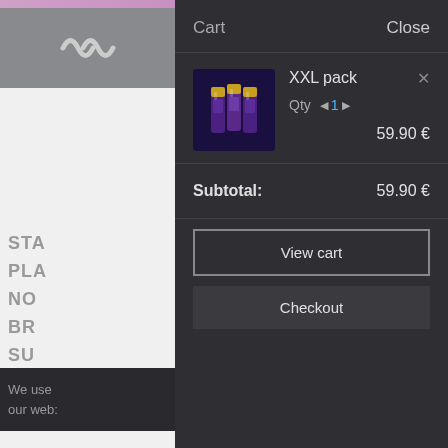[Figure (screenshot): Website shopping cart overlay panel with sidebar navigation on the left and cart contents on the right]
Cart
Close
XXL pack
Qty ◄ 1 ►
59.90 €
Subtotal:
59.90 €
View cart
Checkout
We use
our web: